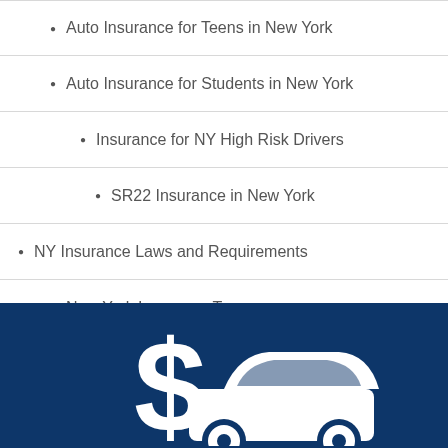Auto Insurance for Teens in New York
Auto Insurance for Students in New York
Insurance for NY High Risk Drivers
SR22 Insurance in New York
NY Insurance Laws and Requirements
New York Insurance Types
New York Insurance Agents Directory
Car Insurance Calculator
[Figure (illustration): White dollar sign and car icon on dark navy blue background banner]